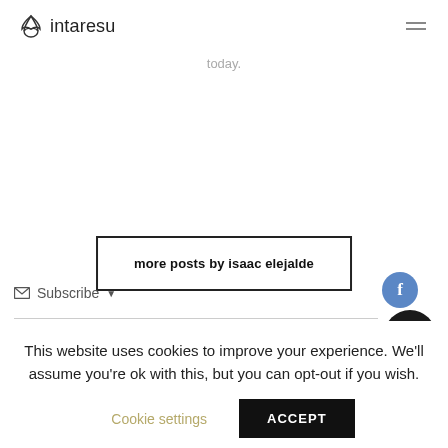intaresu
today.
more posts by isaac elejalde
Subscribe
This website uses cookies to improve your experience. We'll assume you're ok with this, but you can opt-out if you wish.
Cookie settings
ACCEPT